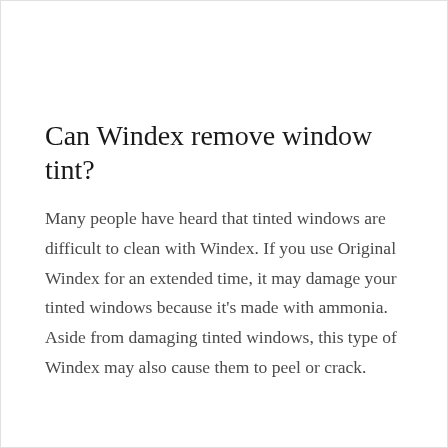Can Windex remove window tint?
Many people have heard that tinted windows are difficult to clean with Windex. If you use Original Windex for an extended time, it may damage your tinted windows because it's made with ammonia. Aside from damaging tinted windows, this type of Windex may also cause them to peel or crack.